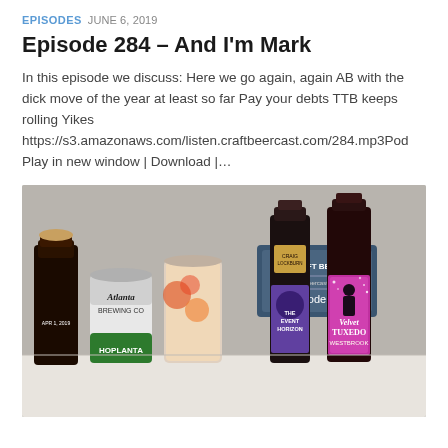EPISODES  JUNE 6, 2019
Episode 284 – And I'm Mark
In this episode we discuss: Here we go again, again AB with the dick move of the year at least so far Pay your debts TTB keeps rolling Yikes https://s3.amazonaws.com/listen.craftbeercast.com/284.mp3Pod Play in new window | Download |...
[Figure (photo): Photo showing several craft beer bottles and cans including Atlanta Brewing Co Hoplanta, The Event Horizon, and Velvet Tuxedo Westbrook, with a white The Craft Beercast Episode 283 sign/placard in the background.]